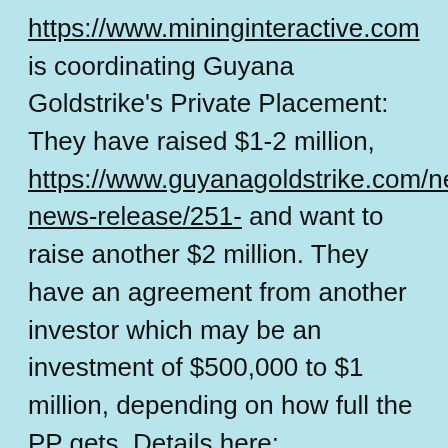https://www.mininginteractive.com is coordinating Guyana Goldstrike's Private Placement: They have raised $1-2 million, https://www.guyanagoldstrike.com/news/2019-news-release/251- and want to raise another $2 million. They have an agreement from another investor which may be an investment of $500,000 to $1 million, depending on how full the PP gets. Details here:

https://www.mininginteractive.com/archived-messages/guyana-goldstrike-an-excellent-investment-buying-opportunity-gold-the-dow-s-and-p-500-and-the-nasdaq-points-to-ponder